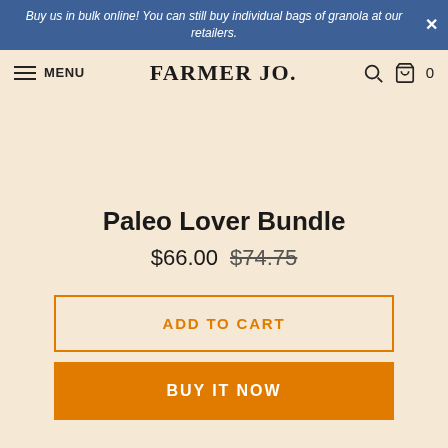Buy us in bulk online! You can still buy individual bags of granola at our retailers.
FARMER JO.
Paleo Lover Bundle
$66.00 $74.75
ADD TO CART
BUY IT NOW